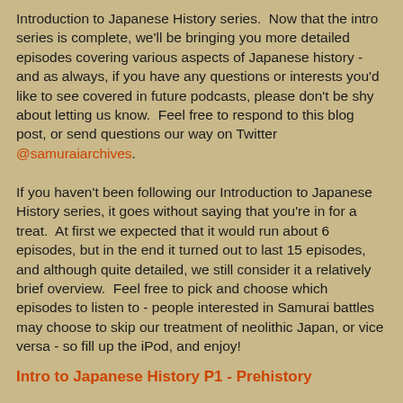Introduction to Japanese History series.  Now that the intro series is complete, we'll be bringing you more detailed episodes covering various aspects of Japanese history - and as always, if you have any questions or interests you'd like to see covered in future podcasts, please don't be shy about letting us know.  Feel free to respond to this blog post, or send questions our way on Twitter @samuraiarchives.
If you haven't been following our Introduction to Japanese History series, it goes without saying that you're in for a treat.  At first we expected that it would run about 6 episodes, but in the end it turned out to last 15 episodes, and although quite detailed, we still consider it a relatively brief overview.  Feel free to pick and choose which episodes to listen to - people interested in Samurai battles may choose to skip our treatment of neolithic Japan, or vice versa - so fill up the iPod, and enjoy!
Intro to Japanese History P1 - Prehistory